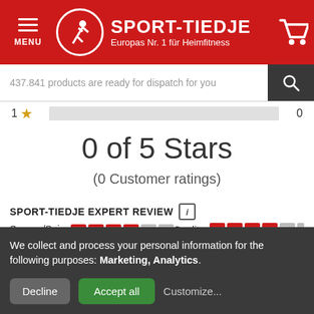[Figure (screenshot): Sport-Tiedje website header with red background, hamburger menu icon on left, Sport-Tiedje logo with running figure in circle, brand name and tagline, shopping cart icon on right]
437.841 products are ready for dispatch for you
1 ★  0
0 of 5 Stars
(0 Customer ratings)
SPORT-TIEDJE EXPERT REVIEW ⓘ
Swerve/Spin speed
Quality
We collect and process your personal information for the following purposes: Marketing, Analytics.
Decline  Accept all  Customize...